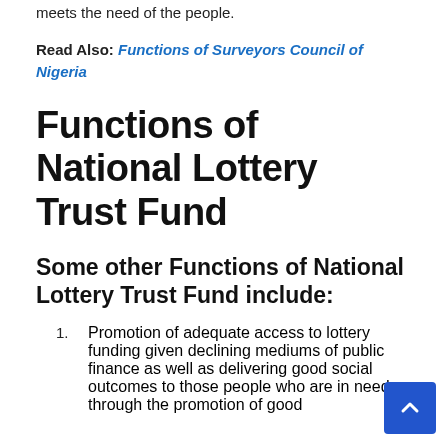meets the need of the people.
Read Also: Functions of Surveyors Council of Nigeria
Functions of National Lottery Trust Fund
Some other Functions of National Lottery Trust Fund include:
Promotion of adequate access to lottery funding given declining mediums of public finance as well as delivering good social outcomes to those people who are in need through the promotion of good